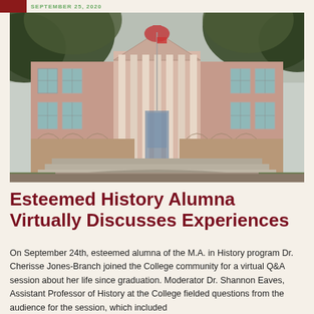SEPTEMBER 25, 2020
[Figure (photo): Exterior photograph of a large classical brick college building with white columns, a triangular pediment, teal/green shutters on windows, and large oak trees framing the façade. Steps and a circular fountain are visible in the foreground.]
Esteemed History Alumna Virtually Discusses Experiences
On September 24th, esteemed alumna of the M.A. in History program Dr. Cherisse Jones-Branch joined the College community for a virtual Q&A session about her life since graduation. Moderator Dr. Shannon Eaves, Assistant Professor of History at the College fielded questions from the audience for the session, which included students associated with the College...